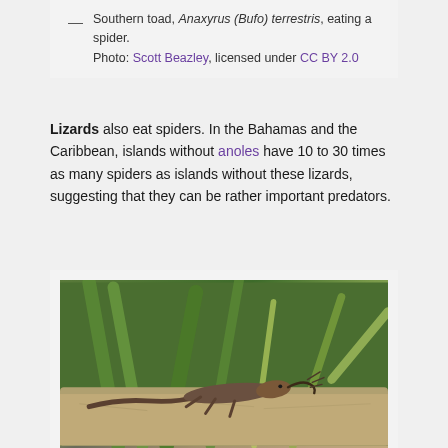— Southern toad, Anaxyrus (Bufo) terrestris, eating a spider. Photo: Scott Beazley, licensed under CC BY 2.0
Lizards also eat spiders. In the Bahamas and the Caribbean, islands without anoles have 10 to 30 times as many spiders as islands without these lizards, suggesting that they can be rather important predators.
[Figure (photo): A lizard (skink or similar species) on a rock surface, holding an insect or spider in its mouth, with green grass or reed blades in the background.]